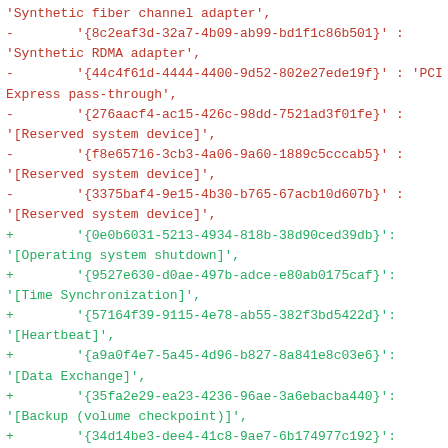Diff/code listing of Hyper-V device GUIDs showing removed (red) and added (green) entries for synthetic adapters and integration services.